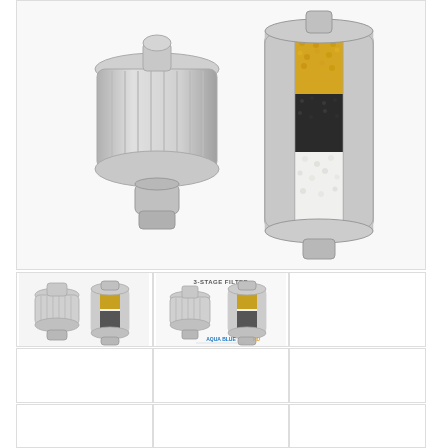[Figure (photo): Two shower water filter units — one assembled (chrome exterior) and one showing internal cross-section with three filter stages: golden granules on top, black activated carbon in middle, white ceramic/resin at bottom]
[Figure (photo): Two small shower filter units side by side — chrome metal unit with cap removed showing filter cartridge]
[Figure (photo): Two shower filter units with label '3-STAGE FILTER' and AQUA BLUE HD branding at bottom]
[Figure (photo): Empty image cell (white)]
[Figure (photo): Empty image cell (white)]
[Figure (photo): Empty image cell (white)]
[Figure (photo): Empty image cell (white)]
[Figure (photo): Empty image cell (white)]
[Figure (photo): Empty image cell (white)]